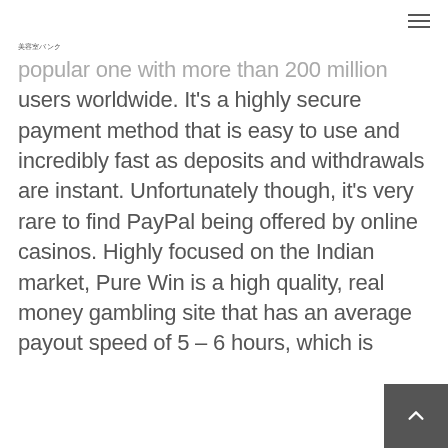美容室バンク
popular one with more than 200 million users worldwide. It's a highly secure payment method that is easy to use and incredibly fast as deposits and withdrawals are instant. Unfortunately though, it's very rare to find PayPal being offered by online casinos. Highly focused on the Indian market, Pure Win is a high quality, real money gambling site that has an average payout speed of 5 – 6 hours, which is really fast.